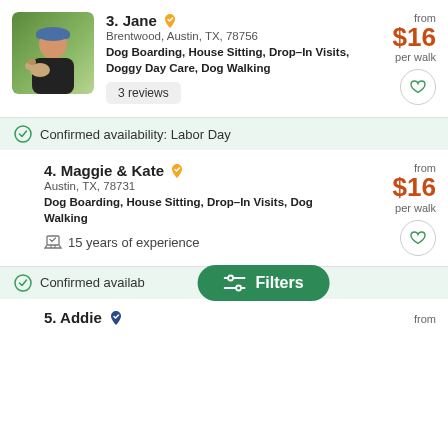[Figure (photo): Profile photo of Jane with a dog, wearing a blue cap, outdoors on green grass]
3. Jane — Brentwood, Austin, TX, 78756 — Dog Boarding, House Sitting, Drop-In Visits, Doggy Day Care, Dog Walking — 3 reviews — from $16 per walk
Confirmed availability: Labor Day
4. Maggie & Kate — Austin, TX, 78731 — Dog Boarding, House Sitting, Drop-In Visits, Dog Walking — 15 years of experience — from $16 per walk
Confirmed availab...
5. Addie — from
Filters